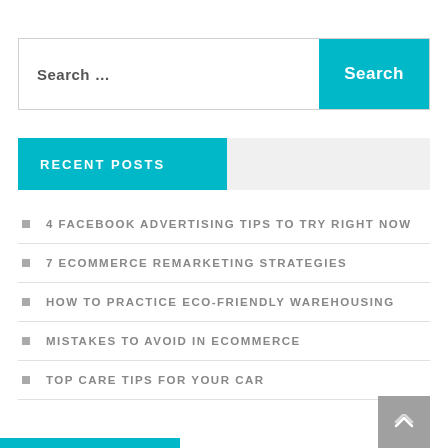Search ...
RECENT POSTS
4 FACEBOOK ADVERTISING TIPS TO TRY RIGHT NOW
7 ECOMMERCE REMARKETING STRATEGIES
HOW TO PRACTICE ECO-FRIENDLY WAREHOUSING
MISTAKES TO AVOID IN ECOMMERCE
TOP CARE TIPS FOR YOUR CAR